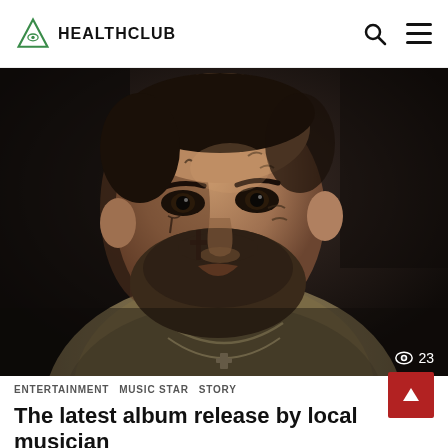HEALTHCLUB
[Figure (photo): Close-up portrait of a heavyset male musician with extensive facial tattoos including a cross on his cheek, wearing silver chain necklaces and a tan/olive jacket, photographed in a dark, moody setting.]
◎ 23
ENTERTAINMENT  MUSIC STAR  STORY
The latest album release by local musician